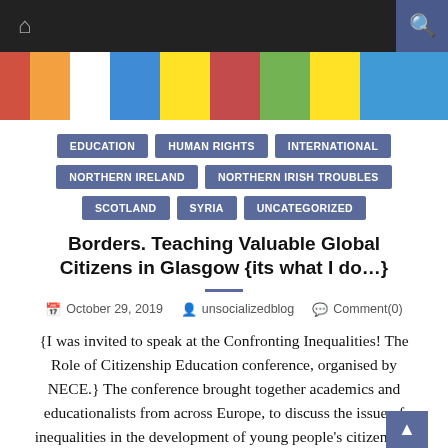Navigation bar with home icon, menu, and search
[Figure (photo): Colorful signs/posters banner image]
EDUCATION
HUMAN RIGHTS
INTERNATIONAL
NORTHERN IRELAND
NORTHERN IRISH TROUBLES
SCOTLAND
SYRIA
UNCATEGORIZED
Borders. Teaching Valuable Global Citizens in Glasgow {its what I do…}
October 29, 2019   unsocializedblog   Comment(0)
{I was invited to speak at the Confronting Inequalities! The Role of Citizenship Education conference, organised by NECE.} The conference brought together academics and educationalists from across Europe, to discuss the issue of inequalities in the development of young people's citizenship